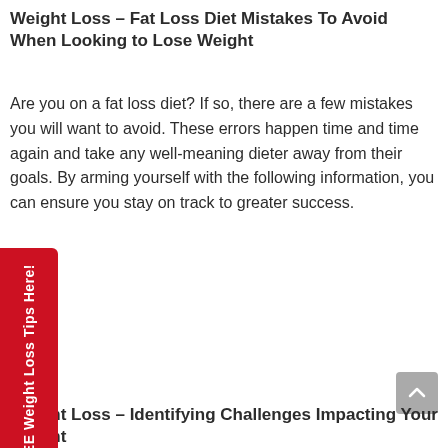Weight Loss – Fat Loss Diet Mistakes To Avoid When Looking to Lose Weight
Are you on a fat loss diet? If so, there are a few mistakes you will want to avoid. These errors happen time and time again and take any well-meaning dieter away from their goals. By arming yourself with the following information, you can ensure you stay on track to greater success.
Weight Loss – Identifying Challenges Impacting Your Weight